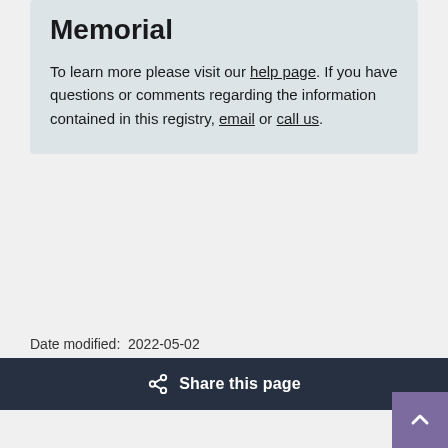Memorial
To learn more please visit our help page. If you have questions or comments regarding the information contained in this registry, email or call us.
Date modified:  2022-05-02
Share this page